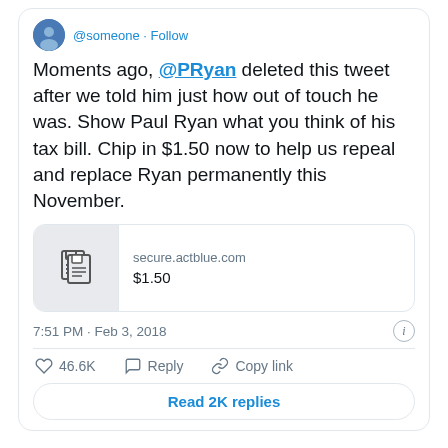Moments ago, @PRyan deleted this tweet after we told him just how out of touch he was. Show Paul Ryan what you think of his tax bill. Chip in $1.50 now to help us repeal and replace Ryan permanently this November.
[Figure (screenshot): Link card showing secure.actblue.com with $1.50 title and a document icon]
7:51 PM · Feb 3, 2018
46.6K   Reply   Copy link
Read 2K replies
And even though Ryan deleted, the world still saw it and